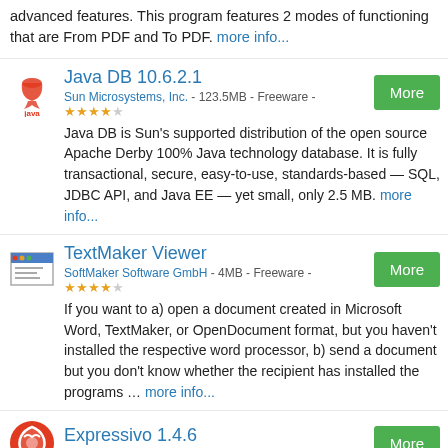advanced features. This program features 2 modes of functioning that are From PDF and To PDF. more info...
Java DB 10.6.2.1
Sun Microsystems, Inc. - 123.5MB - Freeware - ★★★★☆
Java DB is Sun's supported distribution of the open source Apache Derby 100% Java technology database. It is fully transactional, secure, easy-to-use, standards-based — SQL, JDBC API, and Java EE — yet small, only 2.5 MB. more info...
TextMaker Viewer
SoftMaker Software GmbH - 4MB - Freeware - ★★★★☆
If you want to a) open a document created in Microsoft Word, TextMaker, or OpenDocument format, but you haven't installed the respective word processor, b) send a document but you don't know whether the recipient has installed the programs … more info...
Expressivo 1.4.6
IVO Software LLC - Commercial - ★★★★☆
Expressivo is able to read texts in all the most popular formats, starting with pdf (Acrobat Reader), including doc...